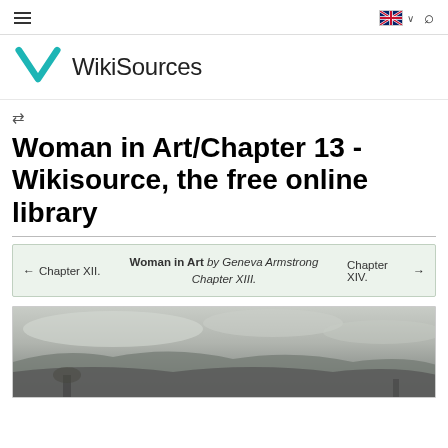WikiSources
Woman in Art/Chapter 13 - Wikisource, the free online library
| ← Chapter XII. | Woman in Art by Geneva Armstrong — Chapter XIII. | Chapter XIV. → |
| --- | --- | --- |
[Figure (photo): Grayscale photograph, appears to show a landscape scene with sky and terrain.]